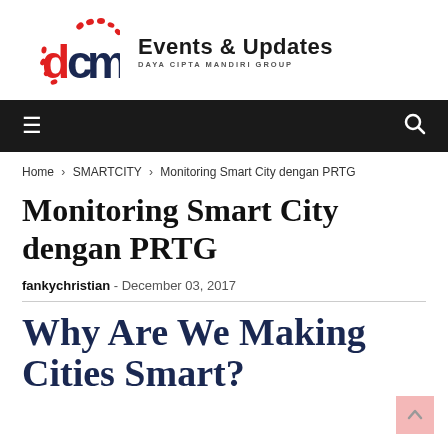[Figure (logo): DCM logo with red dotted arc and letters 'dcm' in red and dark blue, alongside 'Events & Updates' branding text and 'DAYA CIPTA MANDIRI GROUP' subtitle]
≡   🔍
Home > SMARTCITY > Monitoring Smart City dengan PRTG
Monitoring Smart City dengan PRTG
fankychristian - December 03, 2017
Why Are We Making Cities Smart?